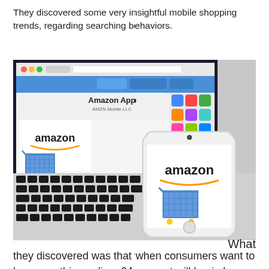They discovered some very insightful mobile shopping trends, regarding searching behaviors.
[Figure (photo): A laptop showing the Amazon App page in the Mac App Store, with an iPhone displaying the Amazon app logo and shopping cart icon placed in front of the keyboard.]
What they discovered was that when consumers want to buy something online, 64 percent will begin by